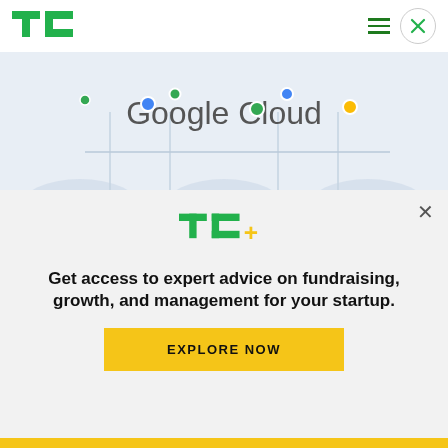TechCrunch logo, hamburger menu, close button
[Figure (photo): Google Cloud banner image with colorful dots and Google Cloud logo text on a light blue/grey background]
Image Credits: Google /
In the same week that Amazon is holding its big AWS confab, Google is also announcing a move to
[Figure (infographic): TechCrunch+ paywall overlay with TC+ logo, promotional text, and EXPLORE NOW button]
Get access to expert advice on fundraising, growth, and management for your startup.